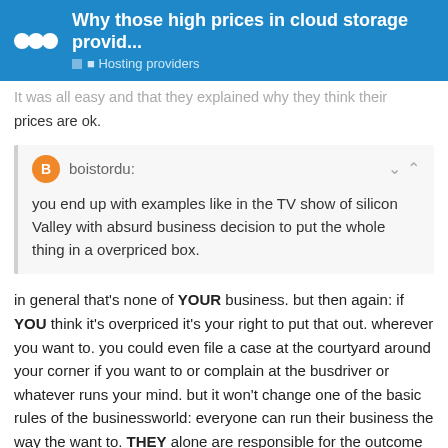Why those high prices in cloud storage provid... | Hosting providers
prices are ok.
boistordu: you end up with examples like in the TV show of silicon Valley with absurd business decision to put the whole thing in a overpriced box.
in general that’s none of YOUR business. but then again: if YOU think it’s overpriced it’s your right to put that out. wherever you want to. you could even file a case at the courtyard around your corner if you want to or complain at the busdriver or whatever runs your mind. but it won’t change one of the basic rules of the businessworld: everyone can run their business the way the want to. THEY alone are responsible for the outcome of their decisions.
boistordu: 14 / 14